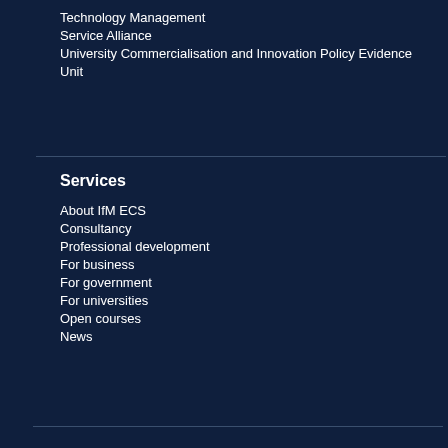Technology Management
Service Alliance
University Commercialisation and Innovation Policy Evidence Unit
Services
About IfM ECS
Consultancy
Professional development
For business
For government
For universities
Open courses
News